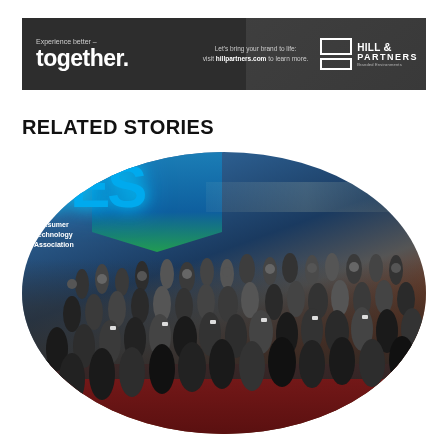[Figure (other): Hill & Partners advertisement banner with dark background. Left side shows 'Experience better – together.' tagline. Center shows 'Let's bring your brand to life: visit hillpartners.com to learn more.' Right side shows Hill & Partners Branded Environments logo with two white rectangles.]
RELATED STORIES
[Figure (photo): Circular cropped photo of a crowded CES (Consumer Electronics Show) trade show floor. Large CES sign in blue letters is visible in the upper left, with 'Consumer Technology Association' text below. The floor is packed with attendees. Red carpet floor is visible at the bottom.]